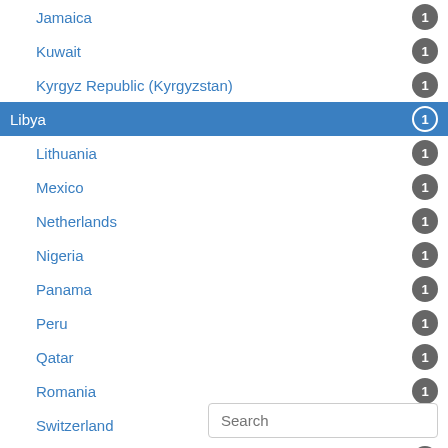Jamaica 1
Kuwait 1
Kyrgyz Republic (Kyrgyzstan) 1
Libya 1
Lithuania 1
Mexico 1
Netherlands 1
Nigeria 1
Panama 1
Peru 1
Qatar 1
Romania 1
Switzerland 1
Ukraine 1